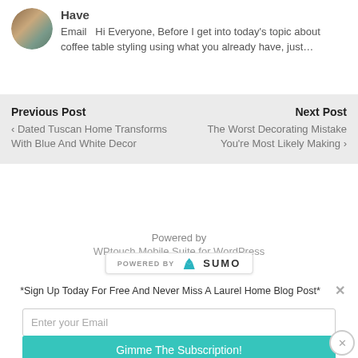[Figure (photo): Small circular avatar photo showing a living room interior with warm tones]
Have
Email   Hi Everyone, Before I get into today's topic about coffee table styling using what you already have, just…
Previous Post
‹ Dated Tuscan Home Transforms With Blue And White Decor
Next Post
The Worst Decorating Mistake You're Most Likely Making ›
Powered by
WPtouch Mobile Suite for WordPress
[Figure (logo): POWERED BY SUMO badge with crown icon]
*Sign Up Today For Free And Never Miss A Laurel Home Blog Post*
Enter your Email
Gimme The Subscription!